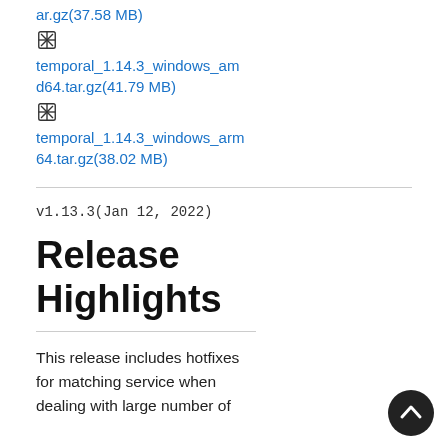ar.gz(37.58 MB)
temporal_1.14.3_windows_amd64.tar.gz(41.79 MB)
temporal_1.14.3_windows_arm64.tar.gz(38.02 MB)
v1.13.3(Jan 12, 2022)
Release Highlights
This release includes hotfixes for matching service when dealing with large number of